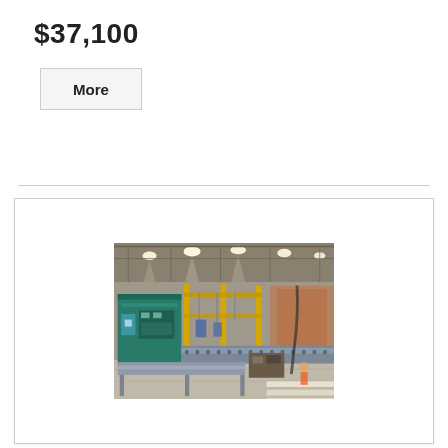$37,100
More
[Figure (photo): Industrial manufacturing facility interior showing large teal/green machinery with yellow support frames and overhead lighting in a warehouse setting. The machine appears to be heavy industrial equipment on a factory floor.]